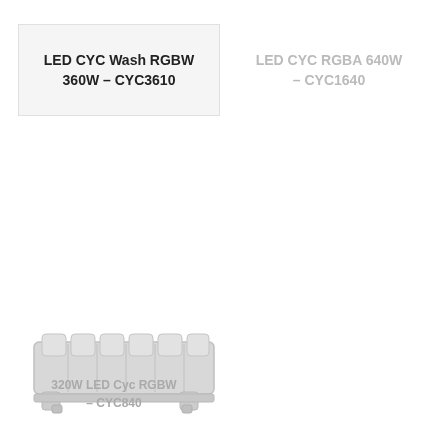LED CYC Wash RGBW 360W – CYC3610
LED CYC RGBA 640W – CYC1640
[Figure (photo): LED CYC wash light fixture, a horizontal bar-shaped LED luminaire with multiple lens modules, shown in light gray/white rendering]
320W LED Cyc RGBW – CYC840